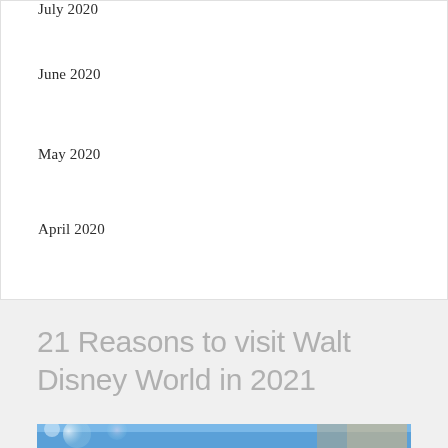July 2020
June 2020
May 2020
April 2020
21 Reasons to visit Walt Disney World in 2021
[Figure (photo): Photo showing Walt Disney World with colorful bubbles and buildings against a blue sky]